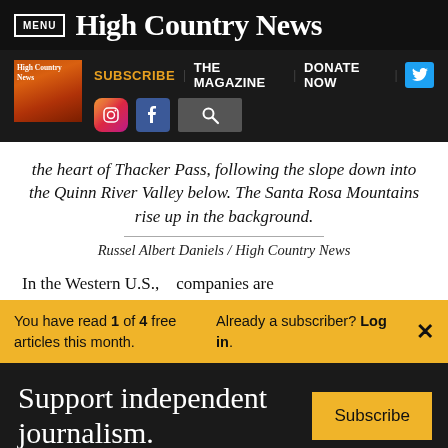MENU | High Country News
[Figure (screenshot): High Country News website navigation bar with magazine cover image, SUBSCRIBE, THE MAGAZINE, DONATE NOW links, Twitter, Instagram, Facebook, and search icons]
the heart of Thacker Pass, following the slope down into the Quinn River Valley below. The Santa Rosa Mountains rise up in the background.
Russel Albert Daniels / High Country News
In the Western U.S., companies are
You have read 1 of 4 free articles this month. Already a subscriber? Log in.
Support independent journalism. Subscribe